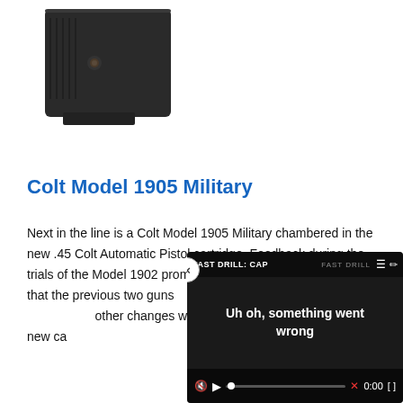[Figure (photo): Black pistol magazine / gun component photographed against white background]
Colt Model 1905 Military
Next in the line is a Colt Model 1905 Military chambered in the new .45 Colt Automatic Pistol cartridge. Feedback during the trials of the Model 1902 prompted Colt to reth[ink...] that the previous two guns [had...] resulting in the creation of [...] other changes were made [...] accommodate the new ca[rtridge...]
[Figure (screenshot): Video player overlay showing 'FAST DRILL: CAP' title with error message 'Uh oh, something went wrong' and video controls at bottom showing 0:00 timestamp]